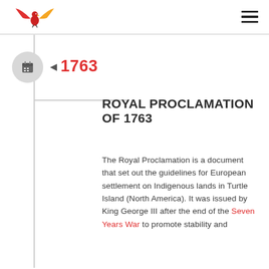[Figure (logo): Eagle logo with red and yellow wings, facing right, in red and gold colors]
ROYAL PROCLAMATION OF 1763
The Royal Proclamation is a document that set out the guidelines for European settlement on Indigenous lands in Turtle Island (North America). It was issued by King George III after the end of the Seven Years War to promote stability and